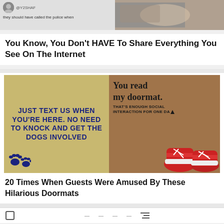[Figure (screenshot): Top partial card showing a social media screenshot with avatar and @Y2SHAF handle, text 'they should have called the police when', and a partial photo of a person on the right]
You Know, You Don’t HAVE To Share Everything You See On The Internet
[Figure (photo): Two doormats side by side: left one on tan background says 'JUST TEXT US WHEN YOU'RE HERE. NO NEED TO KNOCK AND GET THE DOGS INVOLVED' with blue paw prints; right one on brown coir background says 'You read my doormat. THAT'S ENOUGH SOCIAL INTERACTION FOR ONE DAY' with red sneakers]
20 Times When Guests Were Amused By These Hilarious Doormats